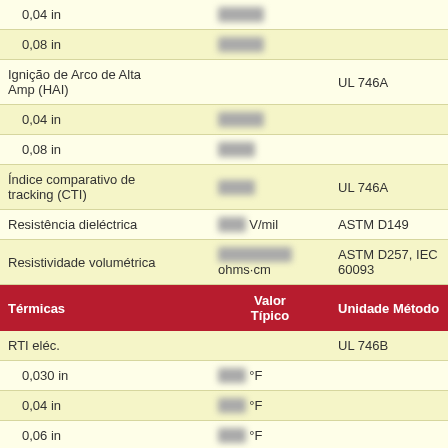| Térmicas | Valor Típico | Unidade | Método |
| --- | --- | --- | --- |
| 0,04 in | █████ |  |  |
| 0,08 in | █████ |  |  |
| Ignição de Arco de Alta Amp (HAI) |  |  | UL 746A |
| 0,04 in | █████ |  |  |
| 0,08 in | █████ |  |  |
| Índice comparativo de tracking (CTI) | █████ |  | UL 746A |
| Resistência dieléctrica | ███ | V/mil | ASTM D149 |
| Resistividade volumétrica | ████████ | ohms·cm | ASTM D257, IEC 60093 |
| RTI eléc. |  |  | UL 746B |
| 0,030 in | ███ | °F |  |
| 0,04 in | ███ | °F |  |
| 0,06 in | ███ | °F |  |